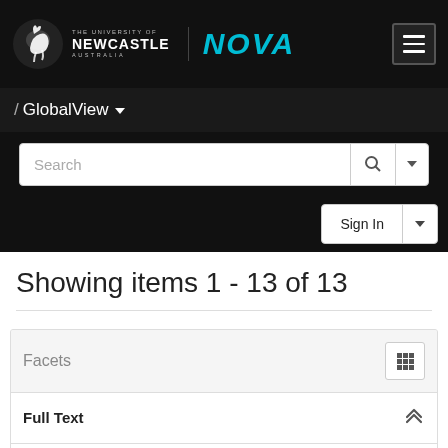THE UNIVERSITY OF NEWCASTLE AUSTRALIA — NOVA
/ GlobalView ▼
Search
Sign In
Showing items 1 - 13 of 13
Facets
Full Text
Yes  12